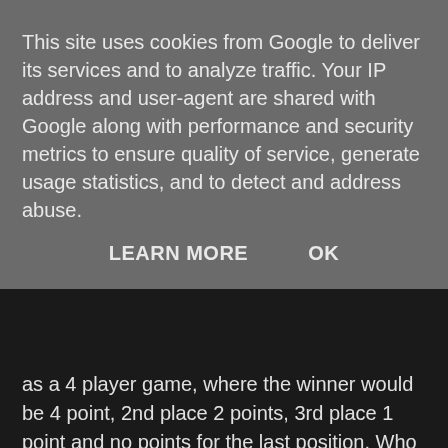This site uses cookies from Google to deliver its services and to analyze traffic. Your IP address and user-agent are shared with Google along with performance and security metrics to ensure quality of service, generate usage statistics, and to detect and address abuse.
LEARN MORE   OK
as a 4 player game, where the winner would be 4 point, 2nd place 2 points, 3rd place 1 point and no points for the last position. Who ever had most points in the end would win the whole tournament.
Final round 1 - Paragon
Well, Paragon, we meet once again in the Sörkka finals.
As the player 1 I got to show off my skills first. I plunged the ball, landed it to the right upper hole, to the bumpers and down the middle from there. With 1.9k score I thought I had seen it all. Pekka, as a 3rd player however somehow managed to beat even this and scored 1.3k on his first ball. My second ball was a house ball, and while on the 3rd ball I